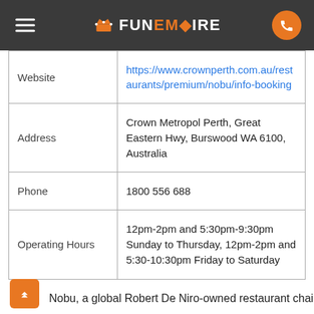FunEmpire
| Label | Value |
| --- | --- |
| Website | https://www.crownperth.com.au/restaurants/premium/nobu/info-booking |
| Address | Crown Metropol Perth, Great Eastern Hwy, Burswood WA 6100, Australia |
| Phone | 1800 556 688 |
| Operating Hours | 12pm-2pm and 5:30pm-9:30pm Sunday to Thursday, 12pm-2pm and 5:30-10:30pm Friday to Saturday |
Nobu, a global Robert De Niro-owned restaurant chain,